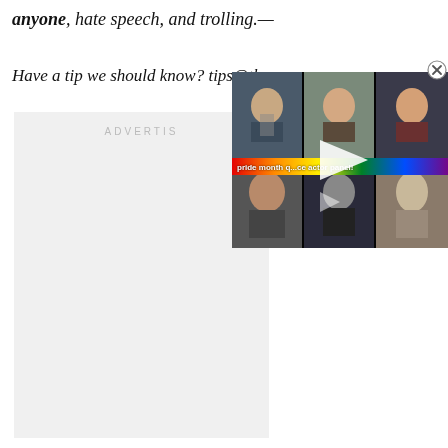anyone, hate speech, and trolling.—
Have a tip we should know? tips@themarysue.com
[Figure (screenshot): Video overlay showing a pride month voice actor panel with a grid of video thumbnails, rainbow pride bar with text 'pride month q...ce actor panel!', and a play button in the center. A close (X) button appears at top right.]
ADVERTIS